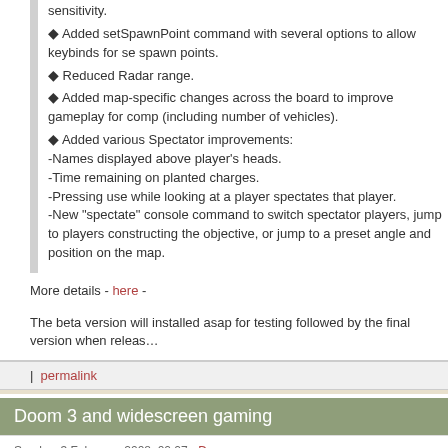sensitivity.
Added setSpawnPoint command with several options to allow keybinds for setting spawn points.
Reduced Radar range.
Added map-specific changes across the board to improve gameplay for comp (including number of vehicles).
Added various Spectator improvements: -Names displayed above player's heads. -Time remaining on planted charges. -Pressing use while looking at a player spectates that player. -New "spectate" console command to switch spectator players, jump to players constructing the objective, or jump to a preset angle and position on the map.
More details - here -
The beta version will installed asap for testing followed by the final version when released.
| permalink
Doom 3 and widescreen gaming
Sunday, 3 February, 2008, 00:07 - Doom
So you like a bit of Doom 3 and you have a widescreen monitor? Well if the answer to both then you may not know that you can in fact play Doom 3 in a widescreen format.